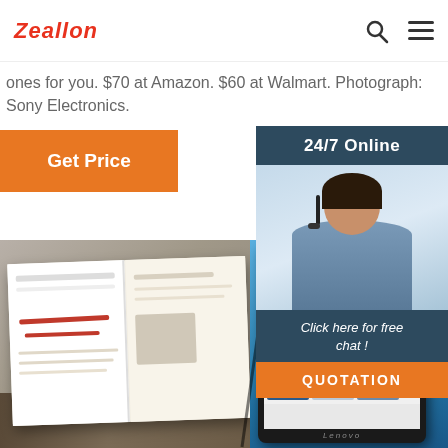Zeallon
ones for you. $70 at Amazon. $60 at Walmart. Photograph: Sony Electronics.
Get Price
[Figure (screenshot): Chat widget with '24/7 Online' header, woman with headset, 'Click here for free chat!' text, and QUOTATION button]
[Figure (photo): Open magazine on wooden surface next to a Lenovo tablet showing Windows interface]